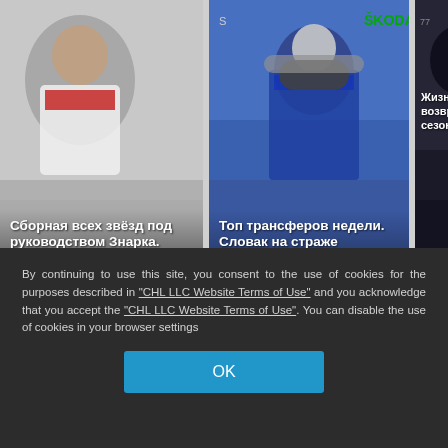[Figure (screenshot): Hockey player card 1 with Russian text overlay: Сборная всех звёзд под руководством Знарка. Навстречу сезону. «Ак Барс»]
[Figure (screenshot): Hockey goalkeeper card 2 with Russian text overlay: Топ трансферов недели. Словак на страже романтичного хоккея Ларионова]
[Figure (screenshot): Partial card 3 with Russian text overlay: Жизнь и возвр... в Омск... сезону.]
Рекомендательный виджет РСЯ
By continuing to use this site, you consent to the use of cookies for the purposes described in "CHL LLC Website Terms of Use" and you acknowledge that you accept the "CHL LLC Website Terms of Use". You can disable the use of cookies in your browser settings
OK